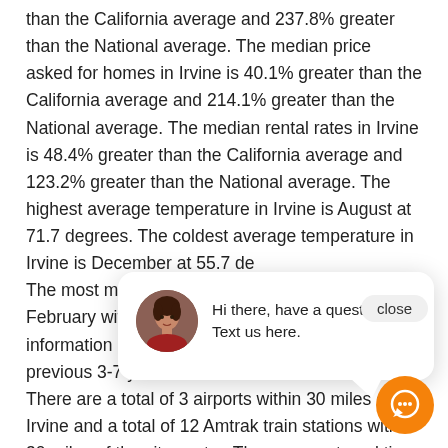than the California average and 237.8% greater than the National average. The median price asked for homes in Irvine is 40.1% greater than the California average and 214.1% greater than the National average. The median rental rates in Irvine is 48.4% greater than the California average and 123.2% greater than the National average. The highest average temperature in Irvine is August at 71.7 degrees. The coldest average temperature in Irvine is December at 55.7 de[…] The most mor[…] February with[…] information is[…] previous 3-7 y[…] There are a total of 3 airports within 30 miles of Irvine and a total of 12 Amtrak train stations within 30 miles of the city center. The average travel time to work in Irvine is 10.3% less than the
[Figure (other): Chat popup overlay with avatar photo of a woman, text 'Hi there, have a question? Text us here.' and a close button. An orange circular chat icon button is in the bottom right.]